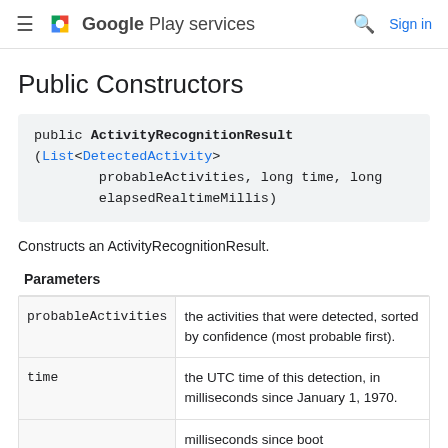≡ Google Play services  🔍 Sign in
Public Constructors
public ActivityRecognitionResult (List<DetectedActivity> probableActivities, long time, long elapsedRealtimeMillis)
Constructs an ActivityRecognitionResult.
| Parameter | Description |
| --- | --- |
| probableActivities | the activities that were detected, sorted by confidence (most probable first). |
| time | the UTC time of this detection, in milliseconds since January 1, 1970. |
|  | milliseconds since boot |